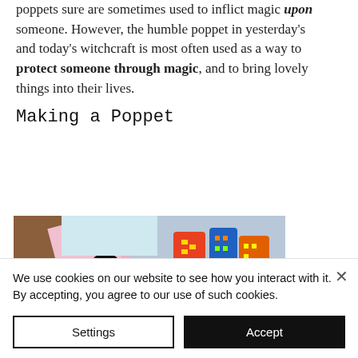poppets sure are sometimes used to inflict magic upon someone. However, the humble poppet in yesterday's and today's witchcraft is most often used as a way to protect someone through magic, and to bring lovely things into their lives.
Making a Poppet
[Figure (photo): Colorful cloth poppets/dolls arranged together, including a black and yellow striped one, a pink one, and various multicolored ones with decorative patterns.]
We use cookies on our website to see how you interact with it. By accepting, you agree to our use of such cookies.